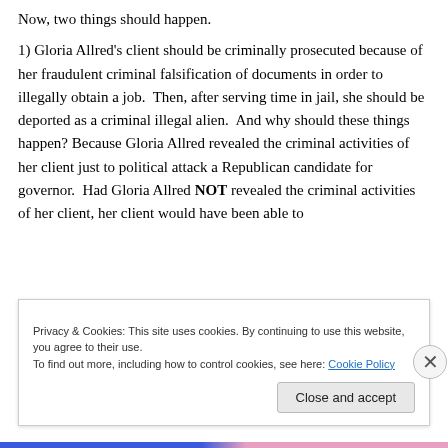Now, two things should happen.
1) Gloria Allred's client should be criminally prosecuted because of her fraudulent criminal falsification of documents in order to illegally obtain a job.  Then, after serving time in jail, she should be deported as a criminal illegal alien.  And why should these things happen?  Because Gloria Allred revealed the criminal activities of her client just to political attack a Republican candidate for governor.  Had Gloria Allred NOT revealed the criminal activities of her client, her client would have been able to
Privacy & Cookies: This site uses cookies. By continuing to use this website, you agree to their use.
To find out more, including how to control cookies, see here: Cookie Policy
Close and accept